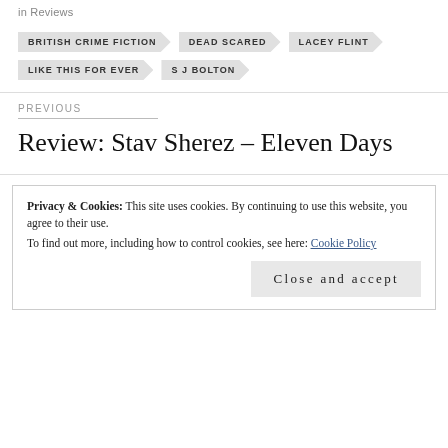in Reviews
BRITISH CRIME FICTION
DEAD SCARED
LACEY FLINT
LIKE THIS FOR EVER
S J BOLTON
PREVIOUS
Review: Stav Sherez – Eleven Days
Privacy & Cookies: This site uses cookies. By continuing to use this website, you agree to their use.
To find out more, including how to control cookies, see here: Cookie Policy
Close and accept